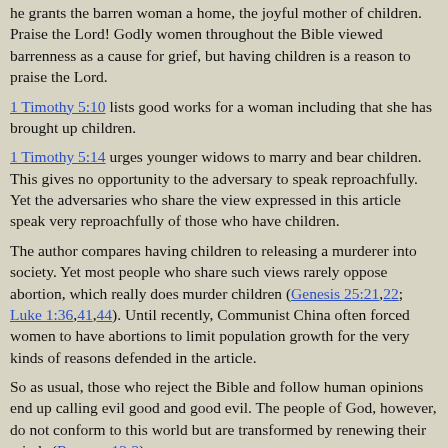he grants the barren woman a home, the joyful mother of children. Praise the Lord! Godly women throughout the Bible viewed barrenness as a cause for grief, but having children is a reason to praise the Lord.
1 Timothy 5:10 lists good works for a woman including that she has brought up children.
1 Timothy 5:14 urges younger widows to marry and bear children. This gives no opportunity to the adversary to speak reproachfully. Yet the adversaries who share the view expressed in this article speak very reproachfully of those who have children.
The author compares having children to releasing a murderer into society. Yet most people who share such views rarely oppose abortion, which really does murder children (Genesis 25:21,22; Luke 1:36,41,44). Until recently, Communist China often forced women to have abortions to limit population growth for the very kinds of reasons defended in the article.
So as usual, those who reject the Bible and follow human opinions end up calling evil good and good evil. The people of God, however, do not conform to this world but are transformed by renewing their minds (Romans 12:2).
(c) Copyright David E. Pratte, 2022; gospelway.com
Local churches and individuals may, within limits, distribute this Bible study guide for free, but not for sale. Web sites may link to